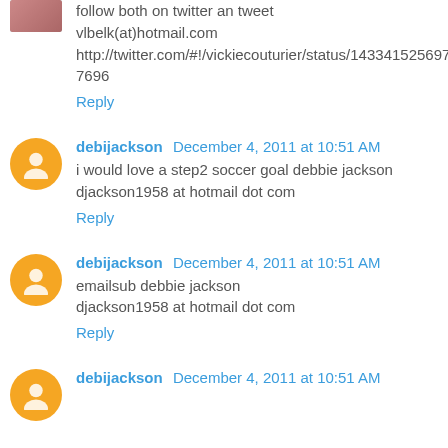follow both on twitter an tweet vlbelk(at)hotmail.com http://twitter.com/#!/vickiecouturier/status/143341525697437696
Reply
debijackson December 4, 2011 at 10:51 AM
i would love a step2 soccer goal debbie jackson djackson1958 at hotmail dot com
Reply
debijackson December 4, 2011 at 10:51 AM
emailsub debbie jackson djackson1958 at hotmail dot com
Reply
debijackson December 4, 2011 at 10:51 AM